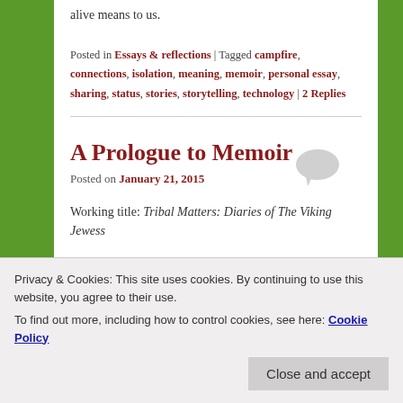alive means to us.
Posted in Essays & reflections | Tagged campfire, connections, isolation, meaning, memoir, personal essay, sharing, status, stories, storytelling, technology | 2 Replies
A Prologue to Memoir
Posted on January 21, 2015
Working title: Tribal Matters: Diaries of The Viking Jewess
“So, are you going to stay Jewish?” the woman asks me
Privacy & Cookies: This site uses cookies. By continuing to use this website, you agree to their use. To find out more, including how to control cookies, see here: Cookie Policy